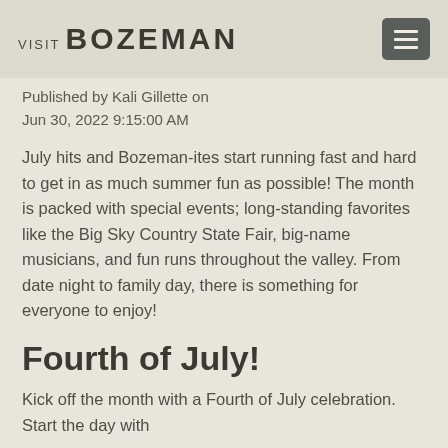VISIT BOZEMAN
Published by Kali Gillette on Jun 30, 2022 9:15:00 AM
July hits and Bozeman-ites start running fast and hard to get in as much summer fun as possible! The month is packed with special events; long-standing favorites like the Big Sky Country State Fair, big-name musicians, and fun runs throughout the valley. From date night to family day, there is something for everyone to enjoy!
Fourth of July!
Kick off the month with a Fourth of July celebration. Start the day with